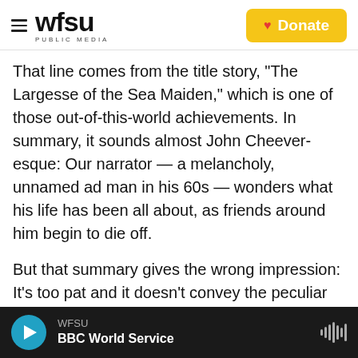wfsu PUBLIC MEDIA | Donate
That line comes from the title story, "The Largesse of the Sea Maiden," which is one of those out-of-this-world achievements. In summary, it sounds almost John Cheever-esque: Our narrator — a melancholy, unnamed ad man in his 60s — wonders what his life has been all about, as friends around him begin to die off.
But that summary gives the wrong impression: It's too pat and it doesn't convey the peculiar tone of the narrator's life review. He's bemused, compassionate and terrified. After all, he's old enough to know the unexpected is always
WFSU | BBC World Service